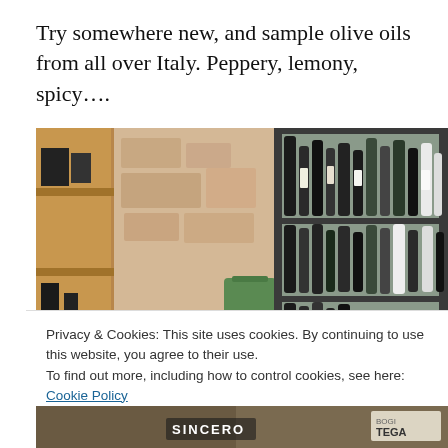Try somewhere new, and sample olive oils from all over Italy. Peppery, lemony, spicy….
[Figure (photo): Interior of a shop or restaurant with wooden shelves on the left, a stone wall in the center, a green candle, and metal shelving on the right stocked with many bottles of olive oil and other products.]
Privacy & Cookies: This site uses cookies. By continuing to use this website, you agree to their use.
To find out more, including how to control cookies, see here: Cookie Policy
Close and accept
[Figure (photo): Bottom strip showing partial view of a shop interior with text 'SINCERO' and 'TEGA' visible on labels or signage.]